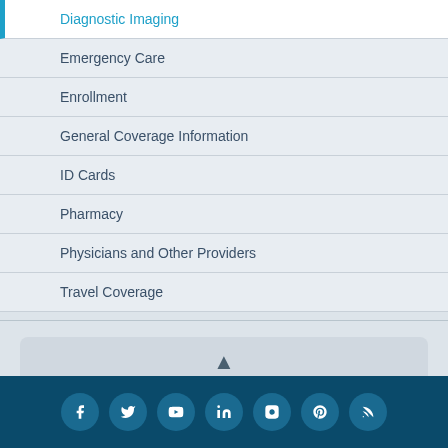Diagnostic Imaging
Emergency Care
Enrollment
General Coverage Information
ID Cards
Pharmacy
Physicians and Other Providers
Travel Coverage
Social media icons: Facebook, Twitter, YouTube, LinkedIn, Instagram, Pinterest, RSS